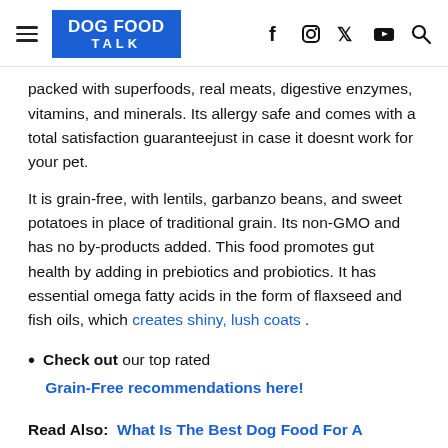DOG FOOD TALK
packed with superfoods, real meats, digestive enzymes, vitamins, and minerals. Its allergy safe and comes with a total satisfaction guaranteejust in case it doesnt work for your pet.
It is grain-free, with lentils, garbanzo beans, and sweet potatoes in place of traditional grain. Its non-GMO and has no by-products added. This food promotes gut health by adding in prebiotics and probiotics. It has essential omega fatty acids in the form of flaxseed and fish oils, which creates shiny, lush coats .
Check out our top rated Grain-Free recommendations here!
Read Also: What Is The Best Dog Food For A Pomeranian